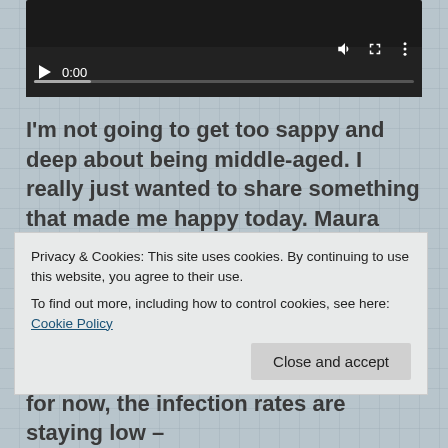[Figure (screenshot): Embedded video player with dark background, play button, timestamp '0:00', progress bar, volume, fullscreen, and options icons]
I'm not going to get too sappy and deep about being middle-aged. I really just wanted to share something that made me happy today. Maura and I are going to get out and about today to celebrate our birthdays. Our wonderful but somewhat anxious dog is in daycare and she'll be
Privacy & Cookies: This site uses cookies. By continuing to use this website, you agree to their use.
To find out more, including how to control cookies, see here: Cookie Policy
for now, the infection rates are staying low –